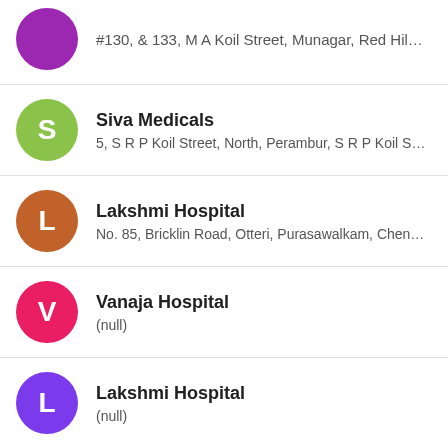#130, & 133, M A Koil Street, Munagar, Red Hills, M A Koi...
Siva Medicals
5, S R P Koil Street, North, Perambur, S R P Koil Street, C...
Lakshmi Hospital
No. 85, Bricklin Road, Otteri, Purasawalkam, Chennai
Vanaja Hospital
(null)
Lakshmi Hospital
(null)
Ortho And Spine Clinic
65, 1st Main Road, Thanigai Nagar, Kolathur, Chennai